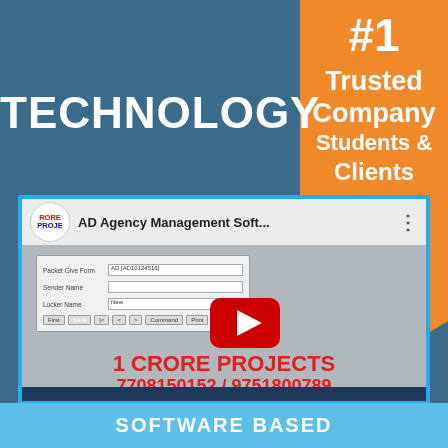TECHNOLOGY
[Figure (other): Orange ribbon banner top-right with text: #1 Trusted Company Students & Clients]
[Figure (screenshot): YouTube video thumbnail showing AD Agency Management Software screenshot with play button, and text: 1 CRORE PROJECTS 7708150152 / 9751800789]
SOFTWARE BASED